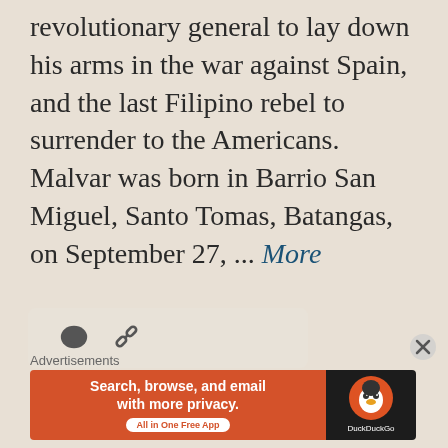revolutionary general to lay down his arms in the war against Spain, and the last Filipino rebel to surrender to the Americans. Malvar was born in Barrio San Miguel, Santo Tomas, Batangas, on September 27, ... More
[Figure (other): Action bar with comment bubble icon and chain link icon on a light beige rounded rectangle background]
Advertisements
[Figure (other): DuckDuckGo advertisement banner: orange-red left section with text 'Search, browse, and email with more privacy. All in One Free App' and a white CTA pill button, dark right section with DuckDuckGo duck logo and brand name]